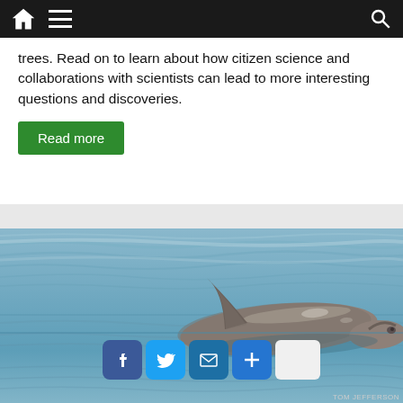Navigation bar with home, menu, and search icons
trees. Read on to learn about how citizen science and collaborations with scientists can lead to more interesting questions and discoveries.
Read more
[Figure (photo): A vaquita or small porpoise swimming near the surface of calm blue rippled water, showing its dorsal fin and back above the waterline. Social share buttons (Facebook, Twitter, email, plus, and a white button) visible at the bottom right. Photo credit: TOM JEFFERSON.]